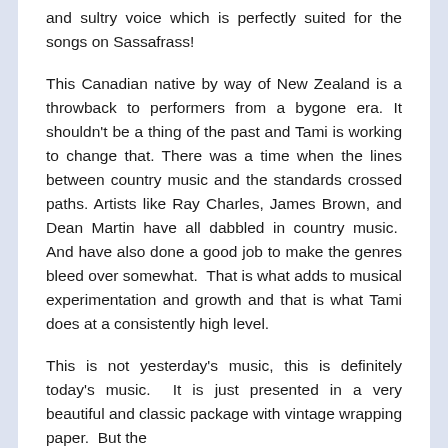and sultry voice which is perfectly suited for the songs on Sassafrass!
This Canadian native by way of New Zealand is a throwback to performers from a bygone era. It shouldn't be a thing of the past and Tami is working to change that. There was a time when the lines between country music and the standards crossed paths. Artists like Ray Charles, James Brown, and Dean Martin have all dabbled in country music.  And have also done a good job to make the genres bleed over somewhat.  That is what adds to musical experimentation and growth and that is what Tami does at a consistently high level.
This is not yesterday's music, this is definitely today's music.  It is just presented in a very beautiful and classic package with vintage wrapping paper.  But the gift is actually very much current and modern. There is still